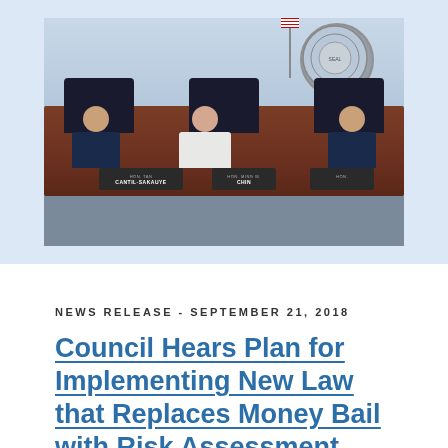[Figure (photo): Three judges or officials seated at a dais in a hearing room. Name plates visible: HON. TAN CANTIL-SAKAUYE (center-left), HON. MING W. CHIN (center), and a third partially visible. An American flag and a large official seal are in the background.]
NEWS RELEASE - SEPTEMBER 21, 2018
Council Hears Plan for Implementing New Law that Replaces Money Bail with Risk Assessment